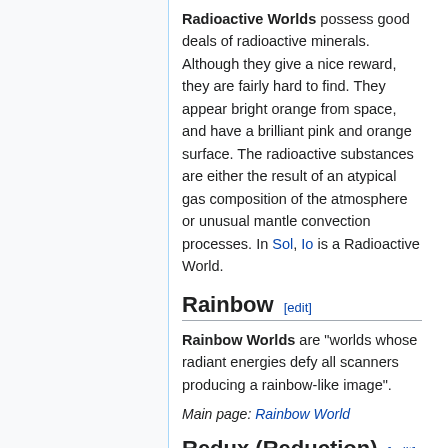Radioactive Worlds possess good deals of radioactive minerals. Although they give a nice reward, they are fairly hard to find. They appear bright orange from space, and have a brilliant pink and orange surface. The radioactive substances are either the result of an atypical gas composition of the atmosphere or unusual mantle convection processes. In Sol, Io is a Radioactive World.
Rainbow [edit]
Rainbow Worlds are "worlds whose radiant energies defy all scanners producing a rainbow-like image".
Main page: Rainbow World
Redux (Reduction) [edit]